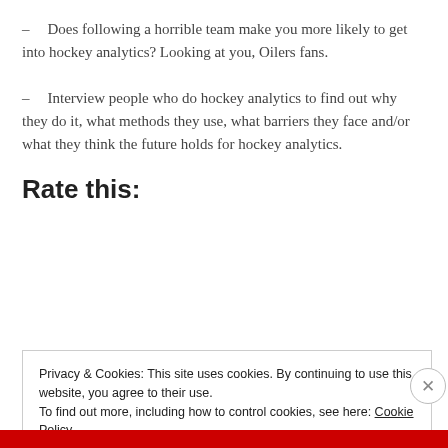– Does following a horrible team make you more likely to get into hockey analytics? Looking at you, Oilers fans.
– Interview people who do hockey analytics to find out why they do it, what methods they use, what barriers they face and/or what they think the future holds for hockey analytics.
Rate this:
Privacy & Cookies: This site uses cookies. By continuing to use this website, you agree to their use.
To find out more, including how to control cookies, see here: Cookie Policy
Close and accept